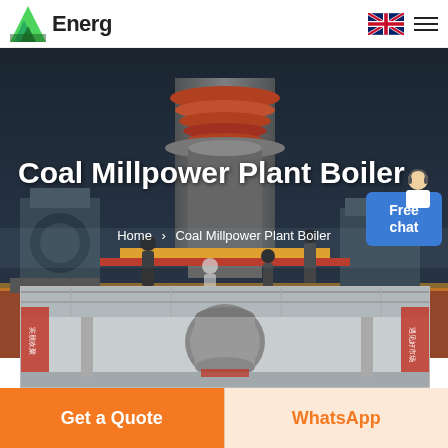Energ [logo] | UK flag | hamburger menu
[Figure (photo): Industrial coal mill power plant boiler hero image with large industrial machinery and people posing in a dark factory/industrial setting]
Coal Millpower Plant Boiler
Home > Coal Millpower Plant Boiler
[Figure (photo): Industrial boiler equipment inside a warehouse/factory with Chinese text banners visible on the sides]
Get a Quote
WhatsApp